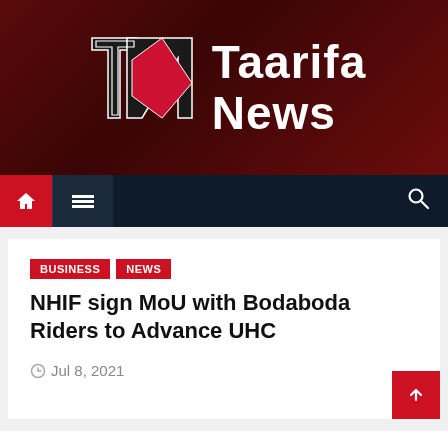[Figure (logo): Taarifa News logo: TN monogram in black, red, and white on dark red background with 'Taarifa News' text in white bold font]
Navigation bar with home icon, hamburger menu, and search icon
BUSINESS
NEWS
NHIF sign MoU with Bodaboda Riders to Advance UHC
Jul 8, 2021